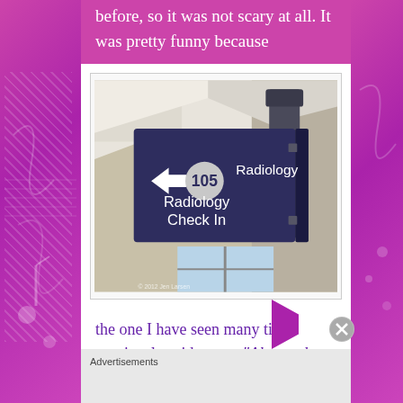before, so it was not scary at all. It was pretty funny because
[Figure (photo): A hospital directional sign mounted from the ceiling. The sign is dark navy/purple colored and reads: arrow pointing left, then a circle with '105', then 'Radiology' and below that 'Radiology Check In'. The sign is photographed from below looking up in what appears to be a hospital corridor.]
the one I have seen many time previously said to me, “Alyssa, do you
Advertisements